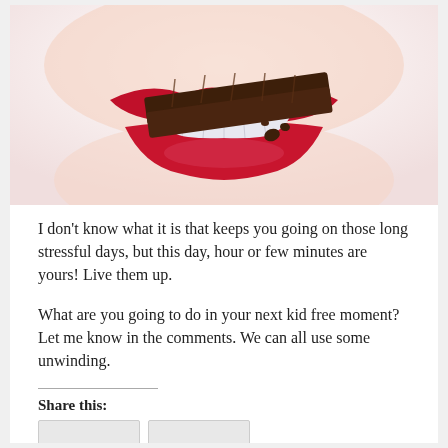[Figure (photo): Close-up photo of a woman with red lipstick biting into a dark chocolate bar, showing white teeth. Photo is cropped to show just the mouth area.]
I don't know what it is that keeps you going on those long stressful days, but this day, hour or few minutes are yours! Live them up.
What are you going to do in your next kid free moment?  Let me know in the comments.  We can all use some unwinding.
Share this: